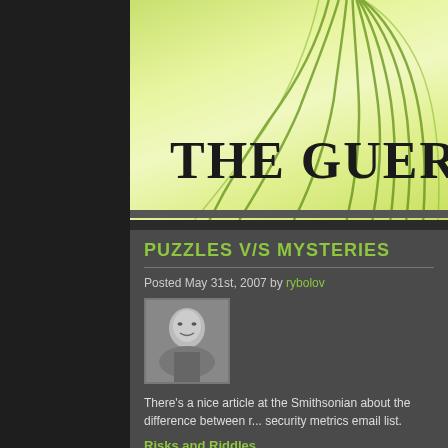[Figure (illustration): Website header banner with light green gradient background and dark green palm leaf decorative lines. Large serif text reads 'THE GUERIL' (truncated).]
THE GUERIL
PUZZLES V/S MYSTERIES
Posted May 31st, 2007 by rybolov
[Figure (photo): Black and white author portrait photo of a man smiling]
There’s a nice article at the Smithsonian about the difference between r... security metrics email list.
Risks and Riddles
This reminds me of intelligence work, for obvious reasons.